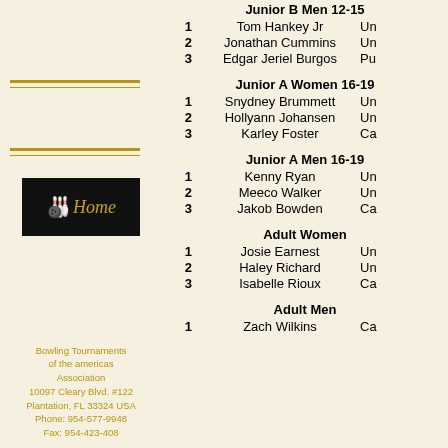Junior B Men 12-15
1  Tom Hankey Jr  Un
2  Jonathan Cummins  Un
3  Edgar Jeriel Burgos  Pu
Junior A Women 16-19
1  Snydney Brummett  Un
2  Hollyann Johansen  Un
3  Karley Foster  Ca
Junior A Men 16-19
1  Kenny Ryan  Un
2  Meeco Walker  Un
3  Jakob Bowden  Ca
Adult Women
1  Josie Earnest  Un
2  Haley Richard  Un
3  Isabelle Rioux  Ca
Adult Men
1  Zach Wilkins  Ca
[Figure (logo): Home button with bowling pins icon on black background]
Bowling Tournaments of the americas Association
10097 Cleary Blvd. #122
Plantation, FL 33324 USA
Phone: 954-577-9948
Fax: 954-423-408